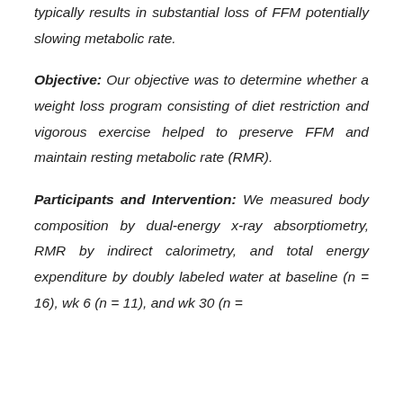typically results in substantial loss of FFM potentially slowing metabolic rate.
Objective: Our objective was to determine whether a weight loss program consisting of diet restriction and vigorous exercise helped to preserve FFM and maintain resting metabolic rate (RMR).
Participants and Intervention: We measured body composition by dual-energy x-ray absorptiometry, RMR by indirect calorimetry, and total energy expenditure by doubly labeled water at baseline (n = 16), wk 6 (n = 11), and wk 30 (n =